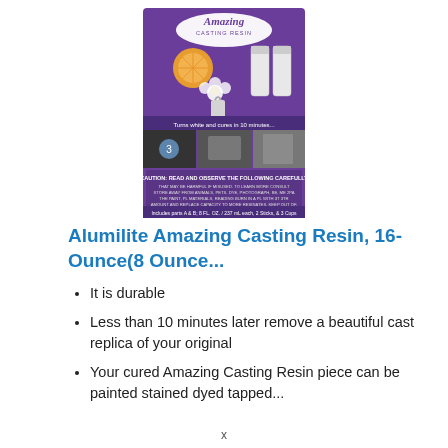[Figure (photo): Product image of Alumilite Amazing Casting Resin box with purple background showing the product bottles, flowers, fruit slices, and usage examples. Text on box: 'Amazing Casting Resin', 'Turns white and cures in 10 minutes...', 'Includes parts A & B; 8 FL. OZ. / 237 mL each, 2 Sticks, & 3 Cups']
Alumilite Amazing Casting Resin, 16-Ounce(8 Ounce...
It is durable
Less than 10 minutes later remove a beautiful cast replica of your original
Your cured Amazing Casting Resin piece can be painted stained dyed tapped...
x